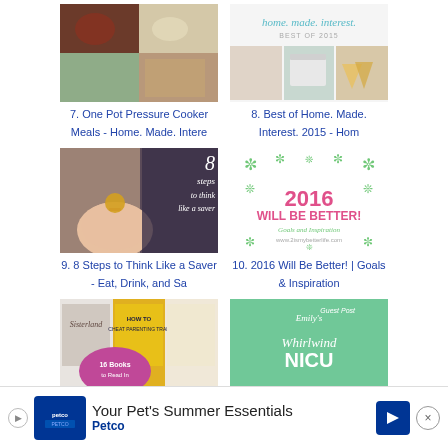[Figure (photo): Food collage - One Pot Pressure Cooker Meals thumbnail]
[Figure (photo): Home Made Interest Best of 2015 collage thumbnail]
7. One Pot Pressure Cooker Meals - Home. Made. Intere
8. Best of Home. Made. Interest. 2015 - Hom
[Figure (photo): 8 Steps to Think Like a Saver - piggy bank photo]
[Figure (illustration): 2016 Will Be Better! Goals and Inspiration graphic with snowflakes]
9. 8 Steps to Think Like a Saver - Eat, Drink, and Sa
10. 2016 Will Be Better! | Goals & Inspiration
[Figure (photo): 16 Books to Read In - book covers collage]
[Figure (illustration): Emily's Whirlwind NICU - teal graphic]
[Figure (advertisement): Your Pet's Summer Essentials - Petco ad banner]